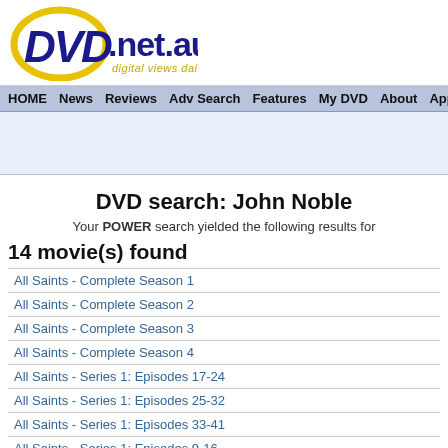[Figure (logo): DVD.net.au logo with blue DVD text in oval, gold tagline 'digital views daily']
HOME  News  Reviews  Adv Search  Features  My DVD  About  Apps  Sta
DVD search: John Noble
Your POWER search yielded the following results for
14 movie(s) found
All Saints - Complete Season 1
All Saints - Complete Season 2
All Saints - Complete Season 3
All Saints - Complete Season 4
All Saints - Series 1: Episodes 17-24
All Saints - Series 1: Episodes 25-32
All Saints - Series 1: Episodes 33-41
All Saints - Series 1: Episodes 9-16
Police Rescue - Season 1